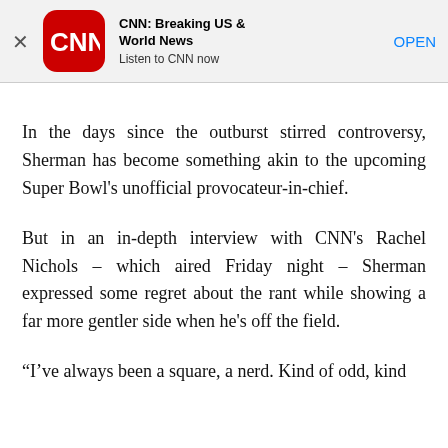[Figure (screenshot): CNN app banner advertisement with CNN logo, title 'CNN: Breaking US & World News', subtitle 'Listen to CNN now', and an OPEN button]
In the days since the outburst stirred controversy, Sherman has become something akin to the upcoming Super Bowl's unofficial provocateur-in-chief.
But in an in-depth interview with CNN's Rachel Nichols – which aired Friday night – Sherman expressed some regret about the rant while showing a far more gentler side when he's off the field.
“I’ve always been a square, a nerd. Kind of odd, kind